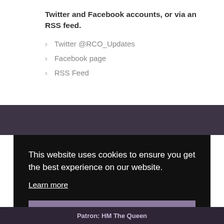Twitter and Facebook accounts, or via an RSS feed.
Twitter @RCO_Updates
Facebook page
RSS Feed
This website uses cookies to ensure you get the best experience on our website.
Learn more
Accept
Patron: HM The Queen